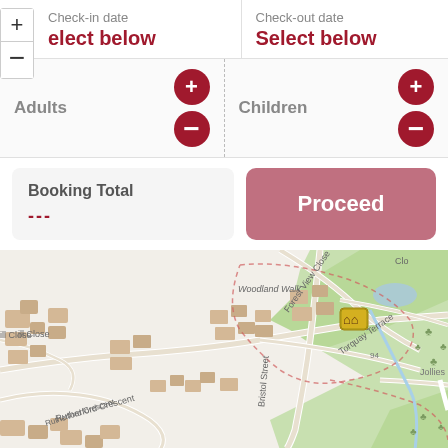Check-in date
Select below
Check-out date
Select below
Adults
Children
Booking Total
---
Proceed
[Figure (map): OpenStreetMap showing a residential area with streets including Forest View Close, Torquay Terrace, Bristol Street, Rutherford Crescent, Jollies Pass Road, Hill Close, and Woodland Walk. A green park area labeled Larch Reserve is visible in the upper right. Dog Stream runs through the area. A yellow map marker icon is visible near the center.]